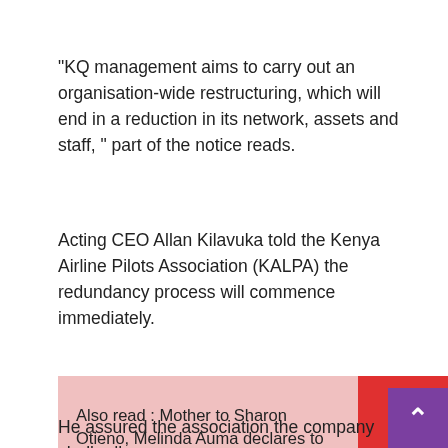"KQ management aims to carry out an organisation-wide restructuring, which will end in a reduction in its network, assets and staff, " part of the notice reads.
Acting CEO Allan Kilavuka told the Kenya Airline Pilots Association (KALPA) the redundancy process will commence immediately.
Also read : Mother to Sharon Otieno, Melinda Auma declares to run for MCA seat on UDA ticket
He assured the association the company shall adhere